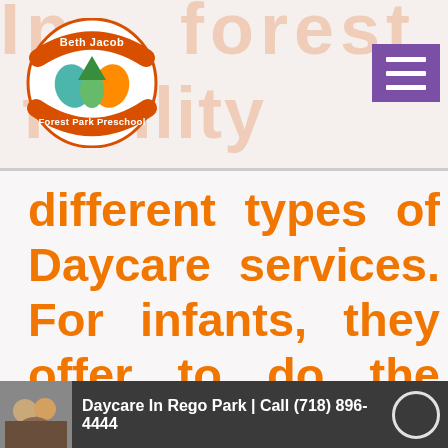In Forest Hills facility offers
[Figure (logo): Beth Jacob Forest Park Preschool circular logo with colorful hands and tree imagery]
different types of Daycare services. For infants, they offer to do the following:
[Figure (screenshot): Video thumbnail showing children with text: Daycare In Rego Park | Call (718) 896-4444]